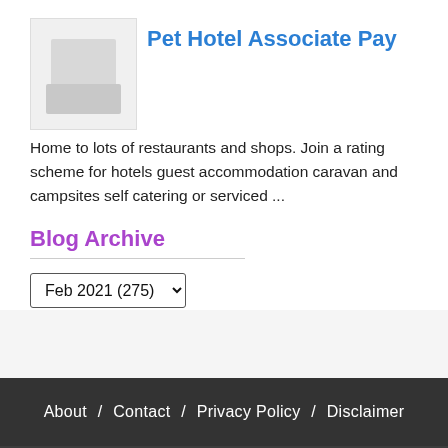Pet Hotel Associate Pay
Home to lots of restaurants and shops. Join a rating scheme for hotels guest accommodation caravan and campsites self catering or serviced ...
Blog Archive
Feb 2021 (275)
About / Contact / Privacy Policy / Disclaimer
Copyright 2021 The O Guide